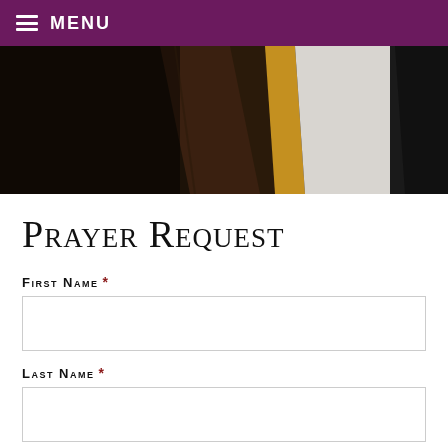MENU
[Figure (photo): Partial view of a person wearing religious vestments including dark and gold/white colored robes, cropped view of torso area]
Prayer Request
First Name *
Last Name *
Email Address *